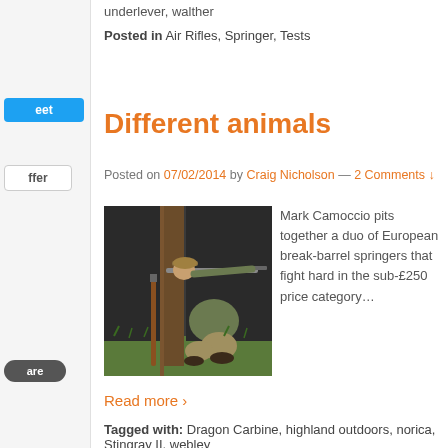underlever, walther
Posted in Air Rifles, Springer, Tests
Different animals
Posted on 07/02/2014 by Craig Nicholson — 2 Comments ↓
[Figure (photo): Man crouching outdoors aiming an air rifle, with a second rifle leaning against a wall beside him]
Mark Camoccio pits together a duo of European break-barrel springers that fight hard in the sub-£250 price category…
Read more ›
Tagged with: Dragon Carbine, highland outdoors, norica, Stingray II, webley
Posted in Air Rifles, Springer, Tests